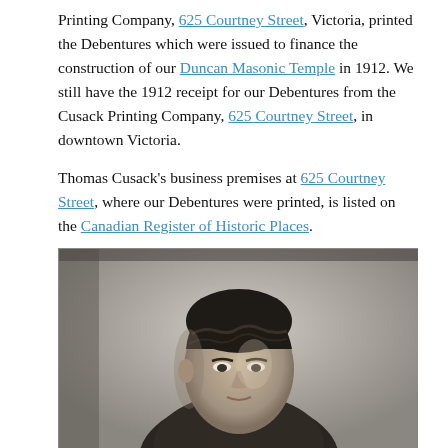Printing Company, 625 Courtney Street, Victoria, printed the Debentures which were issued to finance the construction of our Duncan Masonic Temple in 1912. We still have the 1912 receipt for our Debentures from the Cusack Printing Company, 625 Courtney Street, in downtown Victoria.
Thomas Cusack's business premises at 625 Courtney Street, where our Debentures were printed, is listed on the Canadian Register of Historic Places.
[Figure (photo): Black and white portrait photograph of a young man with wavy dark hair, looking slightly upward, formal studio portrait style.]